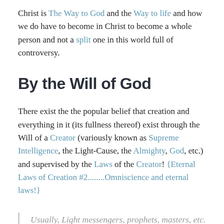Christ is The Way to God and the Way to life and how we do have to become in Christ to become a whole person and not a split one in this world full of controversy.
By the Will of God
There exist the the popular belief that creation and everything in it (its fullness thereof) exist through the Will of a Creator (variously known as Supreme Intelligence, the Light-Cause, the Almighty, God, etc.) and supervised by the Laws of the Creator! {Eternal Laws of Creation #2........Omniscience and eternal laws!}
Usually, Light messengers, prophets, masters, etc. mediate or, hand down rules and observances to guide their followers in